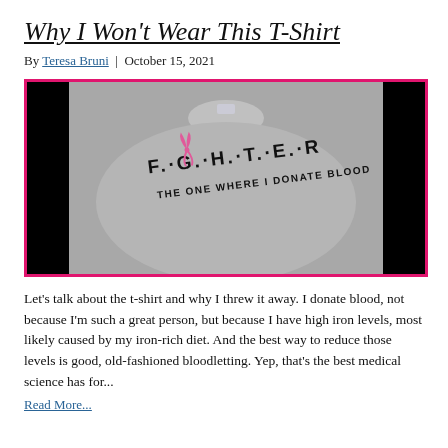Why I Won't Wear This T-Shirt
By Teresa Bruni | October 15, 2021
[Figure (photo): Photo of a grey t-shirt with 'F.·G.·H.·T.·E.·R' printed on it in Friends-style font, with a pink ribbon in place of the letter 'I', and below it 'THE ONE WHERE I DONATE BLOOD']
Let's talk about the t-shirt and why I threw it away. I donate blood, not because I'm such a great person, but because I have high iron levels, most likely caused by my iron-rich diet. And the best way to reduce those levels is good, old-fashioned bloodletting. Yep, that's the best medical science has for...
Read More...